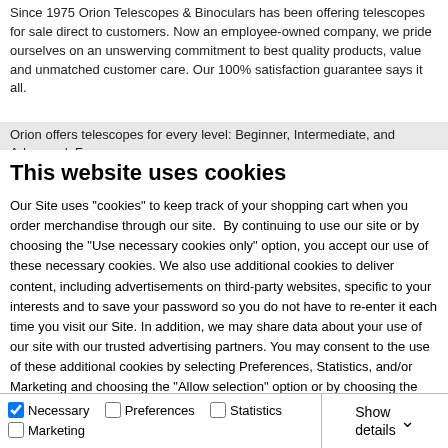Since 1975 Orion Telescopes & Binoculars has been offering telescopes for sale direct to customers. Now an employee-owned company, we pride ourselves on an unswerving commitment to best quality products, value and unmatched customer care. Our 100% satisfaction guarantee says it all.
Orion offers telescopes for every level: Beginner, Intermediate, and Advanced. From
This website uses cookies
Our Site uses "cookies" to keep track of your shopping cart when you order merchandise through our site.  By continuing to use our site or by choosing the "Use necessary cookies only" option, you accept our use of these necessary cookies. We also use additional cookies to deliver content, including advertisements on third-party websites, specific to your interests and to save your password so you do not have to re-enter it each time you visit our Site. In addition, we may share data about your use of our site with our trusted advertising partners. You may consent to the use of these additional cookies by selecting Preferences, Statistics, and/or Marketing and choosing the "Allow selection" option or by choosing the "Allow all cookies" option.
Allow all cookies
Allow selection
Use necessary cookies only
Necessary  Preferences  Statistics  Marketing  Show details